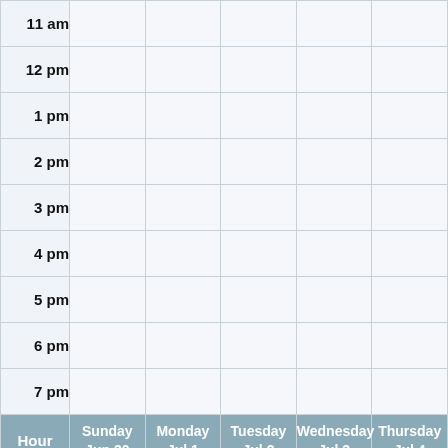| Hour | Sunday Jun 30 | Monday Jul 1 | Tuesday Jul 2 | Wednesday Jul 3 | Thursday Jul 4 |
| --- | --- | --- | --- | --- | --- |
| 11 am |  |  |  |  |  |
| 12 pm |  |  |  |  |  |
| 1 pm |  |  |  |  |  |
| 2 pm |  |  |  |  |  |
| 3 pm |  |  |  |  |  |
| 4 pm |  |  |  |  |  |
| 5 pm |  |  |  |  |  |
| 6 pm |  |  |  |  |  |
| 7 pm |  |  |  |  |  |